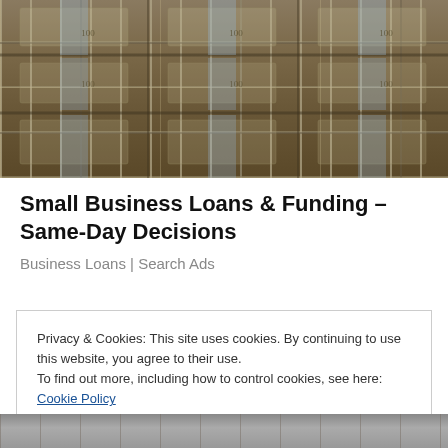[Figure (photo): Stacks of bundled US $100 dollar bills arranged in rows, filling the frame]
Small Business Loans & Funding – Same-Day Decisions
Business Loans | Search Ads
Privacy & Cookies: This site uses cookies. By continuing to use this website, you agree to their use.
To find out more, including how to control cookies, see here: Cookie Policy
Close and accept
[Figure (photo): Partial view of stacked items at the bottom of the page]